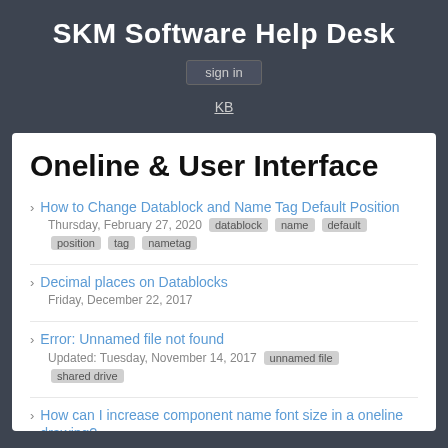SKM Software Help Desk
sign in
KB
Oneline & User Interface
How to Change Datablock and Name Tag Default Position | Thursday, February 27, 2020 | tags: datablock, name, default, position, tag, nametag
Decimal places on Datablocks | Friday, December 22, 2017
Error: Unnamed file not found | Updated: Tuesday, November 14, 2017 | tags: unnamed file, shared drive
How can I increase component name font size in a oneline drawing? | Updated: Friday, July 8, 2016
How can I copy components from a oneline drawing to another oneline drawing?